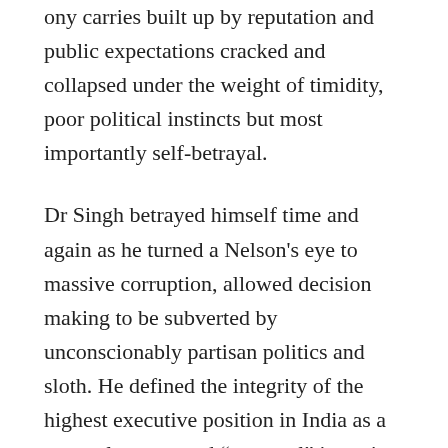ony carries built up by reputation and public expectations cracked and collapsed under the weight of timidity, poor political instincts but most importantly self-betrayal.
Dr Singh betrayed himself time and again as he turned a Nelson's eye to massive corruption, allowed decision making to be subverted by unconscionably partisan politics and sloth. He defined the integrity of the highest executive position in India as a narrowly construed “personal” integrity and in doing so reverted to his essentially “babu” roots of keeping “his desk clean”. Even this is questioned in the 2G scam and Coalgate, though most would put down the seeming links to him, to a secretariat outside of his control. He betrayed his